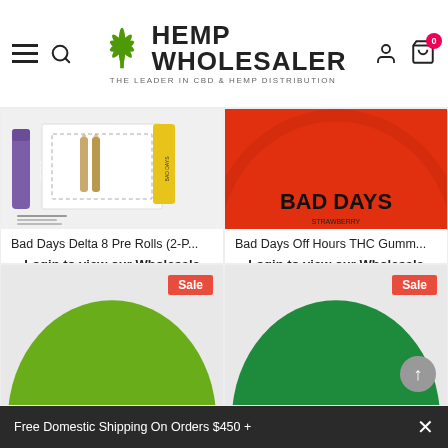Hemp Wholesaler - The Leader in CBD & Hemp Distribution
[Figure (photo): Bad Days Delta 8 Pre Rolls product image showing white box with two pre-rolls and a purple tube]
Bad Days Delta 8 Pre Rolls (2-P...
Login to view our Wholesale Pricing.
[Figure (photo): Bad Days Off Hours THC Gummies product image showing red circular tin lid with BAD DAYS text]
Bad Days Off Hours THC Gumm...
Login to view our Wholesale Pricing.
[Figure (photo): Product with Sale badge - green circular top visible, olive green color]
[Figure (photo): Product with Sale badge - green circular top visible, darker green color]
Free Domestic Shipping On Orders $450 +